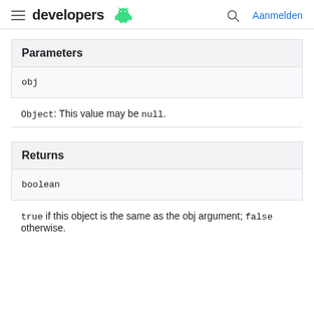developers  Aanmelden
Parameters
|  |
| --- |
| obj |
Object: This value may be null.
Returns
|  |
| --- |
| boolean |
true if this object is the same as the obj argument; false otherwise.